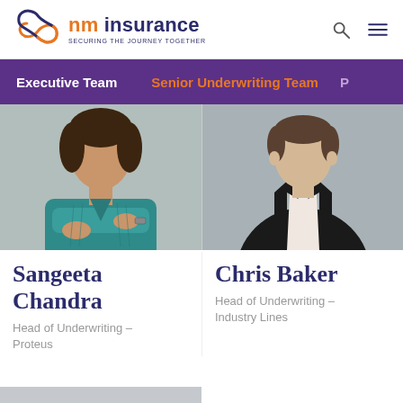nm insurance — SECURING THE JOURNEY TOGETHER
Executive Team | Senior Underwriting Team
[Figure (photo): Portrait photo of Sangeeta Chandra, a woman in a teal long-sleeve top with arms crossed, against a grey background]
[Figure (photo): Portrait photo of Chris Baker, a man in a black blazer and light pink shirt, against a grey background]
Sangeeta Chandra
Head of Underwriting – Proteus
Chris Baker
Head of Underwriting – Industry Lines